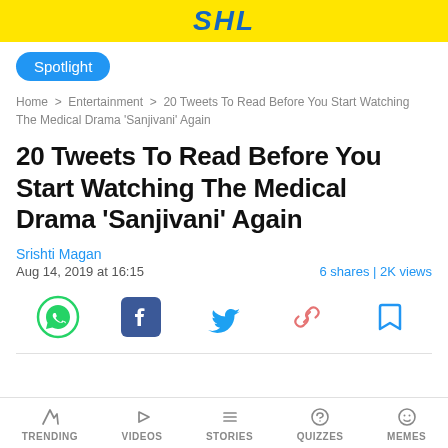SHL
Spotlight
Home > Entertainment > 20 Tweets To Read Before You Start Watching The Medical Drama 'Sanjivani' Again
20 Tweets To Read Before You Start Watching The Medical Drama 'Sanjivani' Again
Srishti Magan
Aug 14, 2019 at 16:15   6 shares | 2K views
[Figure (infographic): Social share icons row: WhatsApp (green), Facebook (blue), Twitter (blue bird), Link/Copy (pink chain), Bookmark (blue outline)]
TRENDING  VIDEOS  STORIES  QUIZZES  MEMES